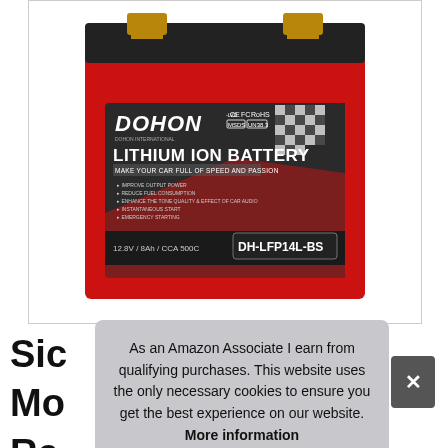[Figure (photo): Red Dohon Lithium Ion Battery DH-LFP14L-BS, 12.8V / 8Ah / CCA 500C, with gold terminals on top, showing product label with brand logos CE, FC, RoHS, MSDS, UN38.3]
Sic
Mo
Re
As an Amazon Associate I earn from qualifying purchases. This website uses the only necessary cookies to ensure you get the best experience on our website. More information